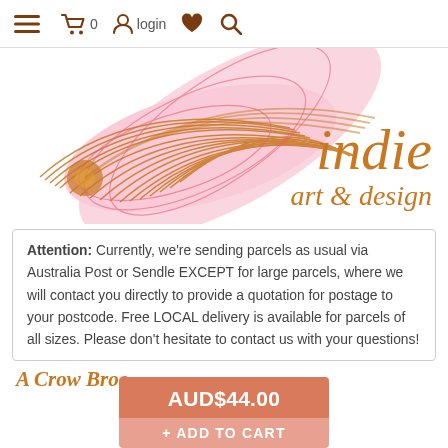≡  🛒 0  👤 login  ♥  🔍
[Figure (illustration): Decorative floral/botanical illustration in pink and orange serving as the Indie Art & Design logo header]
indie art & design
Attention: Currently, we're sending parcels as usual via Australia Post or Sendle EXCEPT for large parcels, where we will contact you directly to provide a quotation for postage to your postcode. Free LOCAL delivery is available for parcels of all sizes. Please don't hesitate to contact us with your questions!
A Croo Broo...
[Figure (screenshot): Orange price badge showing AUD$44.00 with a pink Add to Cart button below]